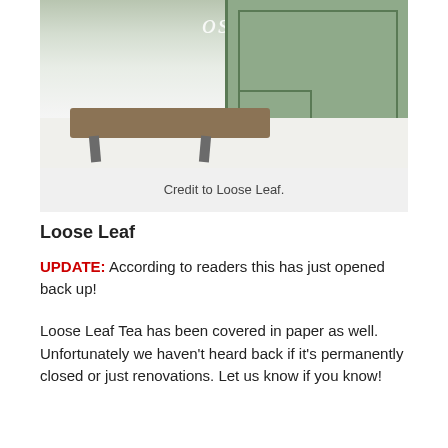[Figure (photo): Exterior of Loose Leaf tea shop with green storefront, wooden bench, and snow on the ground]
Credit to Loose Leaf.
Loose Leaf
UPDATE: According to readers this has just opened back up!
Loose Leaf Tea has been covered in paper as well. Unfortunately we haven't heard back if it's permanently closed or just renovations. Let us know if you know!